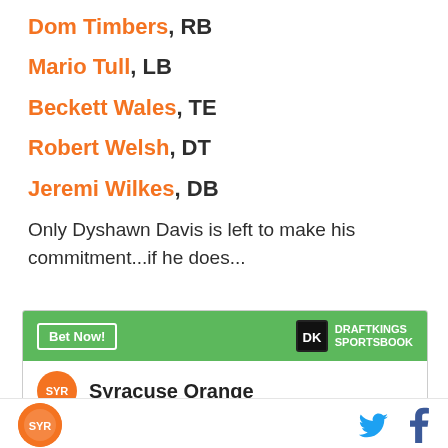Dom Timbers, RB
Mario Tull, LB
Beckett Wales, TE
Robert Welsh, DT
Jeremi Wilkes, DB
Only Dyshawn Davis is left to make his commitment...if he does...
[Figure (infographic): DraftKings Sportsbook advertisement widget showing 'Bet Now!' button and Syracuse Orange team entry]
Syracuse Orange logo, Twitter icon, Facebook icon